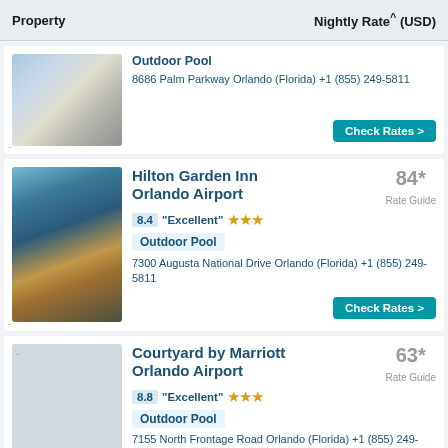Property   Nightly Rate^ (USD)
[Figure (photo): Hotel exterior photo with building and parking area]
Outdoor Pool
8686 Palm Parkway Orlando (Florida) +1 (855) 249-5811
Check Rates >
[Figure (photo): Hilton Garden Inn Orlando Airport exterior at dusk with palm trees]
Hilton Garden Inn Orlando Airport 84* Rate Guide
8.4 "Excellent" ★★★
Outdoor Pool
7300 Augusta National Drive Orlando (Florida) +1 (855) 249-5811
Check Rates >
Courtyard by Marriott Orlando Airport 63* Rate Guide
8.8 "Excellent" ★★★
Outdoor Pool
7155 North Frontage Road Orlando (Florida) +1 (855) 249-5811